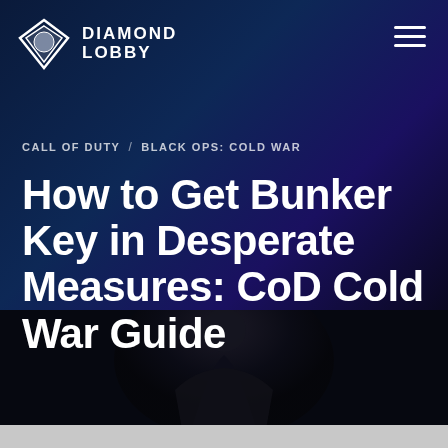DIAMOND LOBBY
CALL OF DUTY / BLACK OPS: COLD WAR
How to Get Bunker Key in Desperate Measures: CoD Cold War Guide
[Figure (photo): Dark atmospheric photo of a figure in black, dimly lit, used as article hero image background]